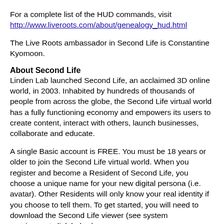For a complete list of the HUD commands, visit http://www.liveroots.com/about/genealogy_hud.html
The Live Roots ambassador in Second Life is Constantine Kyomoon.
About Second Life
Linden Lab launched Second Life, an acclaimed 3D online world, in 2003. Inhabited by hundreds of thousands of people from across the globe, the Second Life virtual world has a fully functioning economy and empowers its users to create content, interact with others, launch businesses, collaborate and educate.
A single Basic account is FREE. You must be 18 years or older to join the Second Life virtual world. When you register and become a Resident of Second Life, you choose a unique name for your new digital persona (i.e. avatar). Other Residents will only know your real identity if you choose to tell them. To get started, you will need to download the Second Life viewer (see system requirements link below).